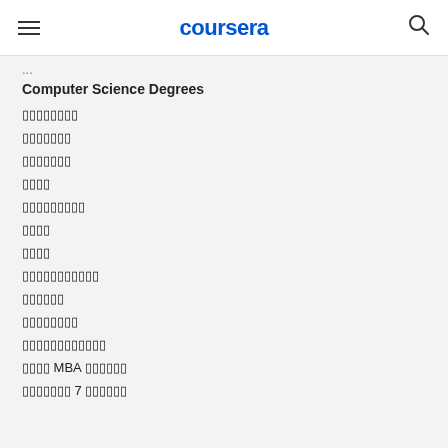coursera
Computer Science Degrees
▯▯▯▯▯▯▯▯
▯▯▯▯▯▯▯
▯▯▯▯▯▯▯
▯▯▯▯
▯▯▯▯▯▯▯▯▯
▯▯▯▯
▯▯▯▯
▯▯▯▯▯▯▯▯▯▯▯
▯▯▯▯▯▯
▯▯▯▯▯▯▯▯
▯▯▯▯▯▯▯▯▯▯▯▯
▯▯▯▯ MBA ▯▯▯▯▯▯
▯▯▯▯▯▯▯ 7 ▯▯▯▯▯▯